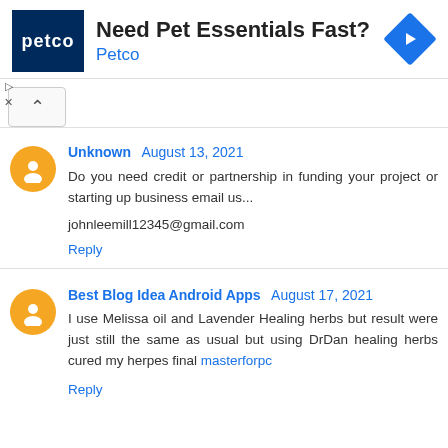[Figure (infographic): Petco advertisement banner with Petco logo (white text on navy background), headline 'Need Pet Essentials Fast?', brand name 'Petco' in blue, and a blue diamond-shaped navigation arrow icon on the right. Small play and close controls on the left side.]
Unknown August 13, 2021
Do you need credit or partnership in funding your project or starting up business email us...

johnleemill12345@gmail.com

Reply
Best Blog Idea Android Apps August 17, 2021
I use Melissa oil and Lavender Healing herbs but result were just still the same as usual but using DrDan healing herbs cured my herpes final masterforpc

Reply